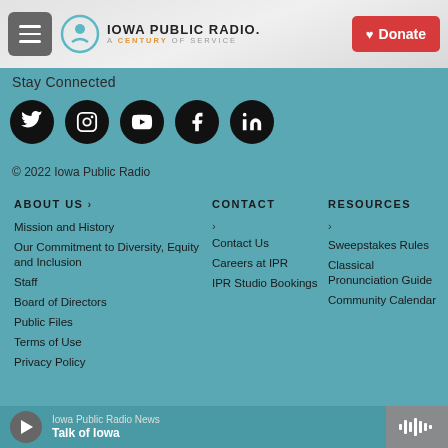Iowa Public Radio. A Century of Service | Donate
Stay Connected
[Figure (other): Row of five social media icon buttons: Twitter, Instagram, YouTube, Facebook, LinkedIn — all in black circles]
© 2022 Iowa Public Radio
ABOUT US
Mission and History
Our Commitment to Diversity, Equity and Inclusion
Staff
Board of Directors
Public Files
Terms of Use
Privacy Policy
CONTACT
Contact Us
Careers at IPR
IPR Studio Bookings
RESOURCES
Sweepstakes Rules
Classical Pronunciation Guide
Community Calendar
Iowa Public Radio News — Talk of Iowa